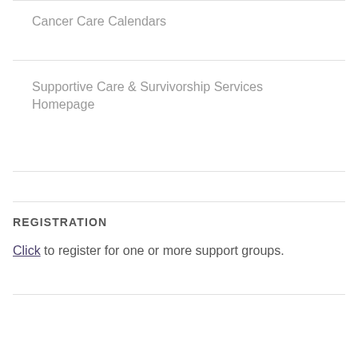Cancer Care Calendars
Supportive Care & Survivorship Services Homepage
REGISTRATION
Click to register for one or more support groups.